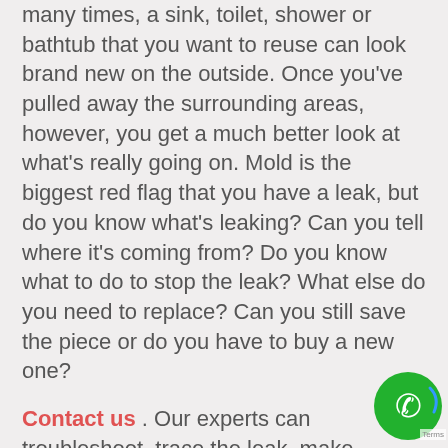many times, a sink, toilet, shower or bathtub that you want to reuse can look brand new on the outside. Once you've pulled away the surrounding areas, however, you get a much better look at what's really going on. Mold is the biggest red flag that you have a leak, but do you know what's leaking? Can you tell where it's coming from? Do you know what to do to stop the leak? What else do you need to replace? Can you still save the piece or do you have to buy a new one?
Contact us . Our experts can troubleshoot, trace the leak, make recommendations on what to replace and get the repairs done quickly. This can save you time, money and numerous trips to the home improvement superstore.
[Figure (illustration): Green circular phone/call button icon in bottom right corner with a white phone handset symbol]